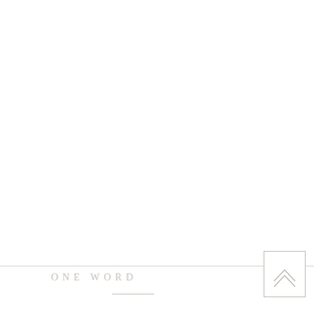ONE WORD
[Figure (illustration): Small decorative icon with upward arrow or caret symbol inside a rectangular border box in the bottom-right corner]